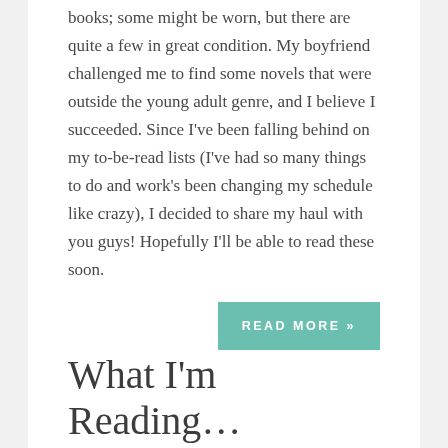books; some might be worn, but there are quite a few in great condition. My boyfriend challenged me to find some novels that were outside the young adult genre, and I believe I succeeded. Since I've been falling behind on my to-be-read lists (I've had so many things to do and work's been changing my schedule like crazy), I decided to share my haul with you guys! Hopefully I'll be able to read these soon.
READ MORE »
What I'm Reading…